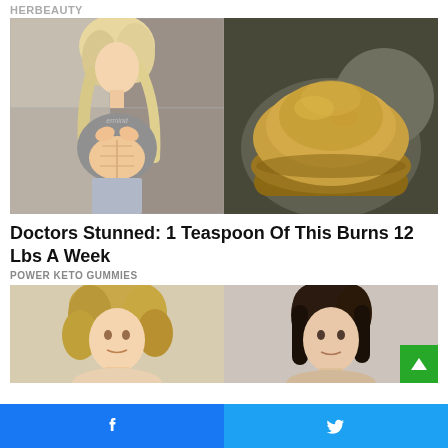HERBEAUTY
[Figure (photo): Split image: left side shows a fit blonde woman in a grey crop sweater lifting it to show toned abs; right side shows a mound of golden-brown powder on a wooden spoon against a dark blurred background.]
Doctors Stunned: 1 Teaspoon Of This Burns 12 Lbs A Week
POWER KETO GUMMIES
[Figure (photo): Split image: left shows a woman with curly blonde hair facing camera; right shows a dark-haired woman facing camera with a green scroll-up button overlay.]
Facebook share button | Twitter share button